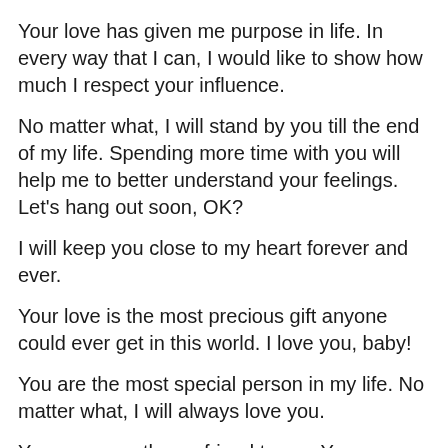Your love has given me purpose in life. In every way that I can, I would like to show how much I respect your influence.
No matter what, I will stand by you till the end of my life. Spending more time with you will help me to better understand your feelings. Let's hang out soon, OK?
I will keep you close to my heart forever and ever.
Your love is the most precious gift anyone could ever get in this world. I love you, baby!
You are the most special person in my life. No matter what, I will always love you.
You are more than a friend to me. You are my life and my love forever.
I love you, sweetheart. I love everything about you.